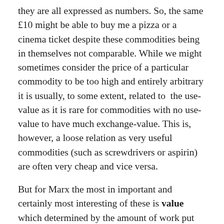they are all expressed as numbers. So, the same £10 might be able to buy me a pizza or a cinema ticket despite these commodities being in themselves not comparable. While we might sometimes consider the price of a particular commodity to be too high and entirely arbitrary it is usually, to some extent, related to the use-value as it is rare for commodities with no use-value to have much exchange-value. This is, however, a loose relation as very useful commodities (such as screwdrivers or aspirin) are often very cheap and vice versa.
But for Marx the most in important and certainly most interesting of these is value which determined by the amount of work put into it. When we work on anything (constructing a table, writing a song, cooking a meal) we